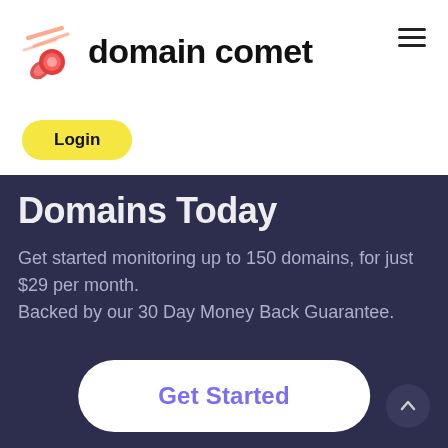[Figure (logo): Domain Comet logo: a red/pink comet shooting diagonally with white speed lines, next to the text 'domain comet' in bold black font]
[Figure (other): Hamburger menu icon (three horizontal lines) in top right corner]
Login
Domains Today
Get started monitoring up to 150 domains, for just $29 per month.
Backed by our 30 Day Money Back Guarantee.
Get Started
[Figure (other): Scroll-to-top button: dark circle with upward chevron arrow]